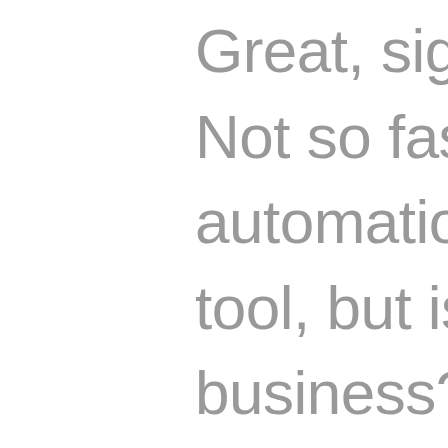Great, sign me up, right? Not so fast. Marketing automation is a valuable tool, but is it right for your business? Maybe you only need email capabilities or a platform to schedule and blast out Facebook and Instagram posts for you every now and then. Chances are, if you communicate with customers and prospects, marketing automation will do your business some good. Let's figure it out by answering the following four questions: